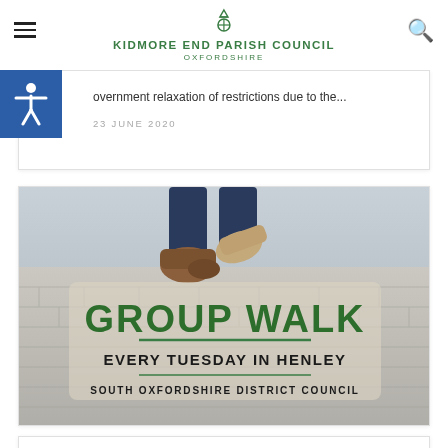KIDMORE END PARISH COUNCIL OXFORDSHIRE
overnment relaxation of restrictions due to the...
23 JUNE 2020
[Figure (photo): Promotional image for Group Walk event. Shows someone walking in boots on a cobblestone path. Large green bold text reads GROUP WALK, below it EVERY TUESDAY IN HENLEY, and at the bottom SOUTH OXFORDSHIRE DISTRICT COUNCIL.]